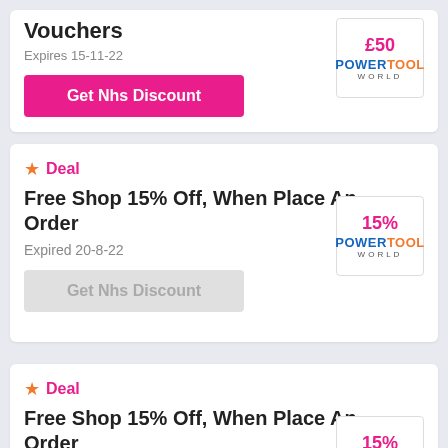Vouchers
Expires 15-11-22
Get Nhs Discount
Deal
Free Shop 15% Off, When Place An Order
Expired 20-8-22
Get Nhs Discount
Deal
Free Shop 15% Off, When Place An Order
Expired 19-8-22